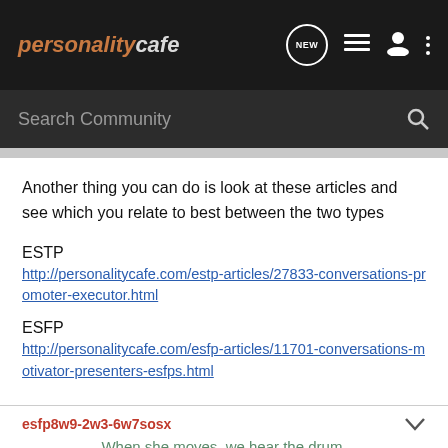personalitycafe — NEW (nav icons)
Another thing you can do is look at these articles and see which you relate to best between the two types
ESTP
http://personalitycafe.com/estp-articles/27833-conversations-promoter-executor.html
ESFP
http://personalitycafe.com/esfp-articles/11701-conversations-motivator-presenters-esfps.html
esfp8w9-2w3-6w7sosx
When she moves, we hear the drum.